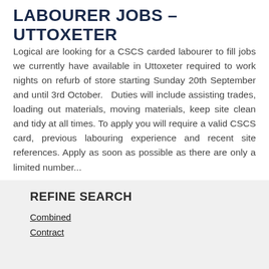LABOURER JOBS – UTTOXETER
Logical are looking for a CSCS carded labourer to fill jobs we currently have available in Uttoxeter required to work nights on refurb of store starting Sunday 20th September and until 3rd October.   Duties will include assisting trades, loading out materials, moving materials, keep site clean and tidy at all times. To apply you will require a valid CSCS card, previous labouring experience and recent site references. Apply as soon as possible as there are only a limited number...
[Figure (other): Cyan/teal APPLY NOW button]
REFINE SEARCH
Combined
Contract